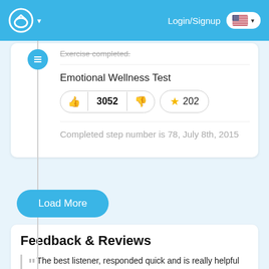Login/Signup
Exercise completed.
Emotional Wellness Test
3052 votes, 202 stars
Completed step number is 78, July 8th, 2015
Load More
Feedback & Reviews
The best listener, responded quick and is really helpful and does not judge you at all.